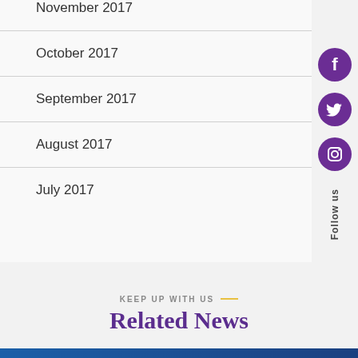November 2017
October 2017
September 2017
August 2017
July 2017
[Figure (illustration): Social media sidebar icons: Facebook, Twitter, Instagram circles in purple, with vertical 'Follow us' text label]
KEEP UP WITH US
Related News